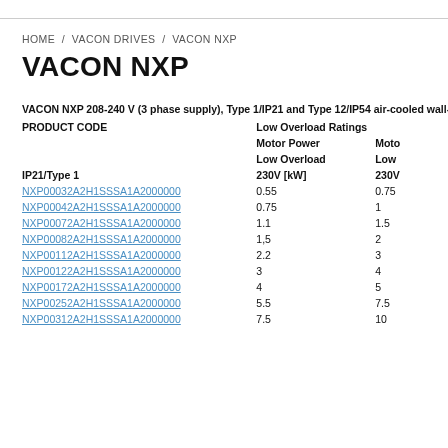HOME / VACON DRIVES / VACON NXP
VACON NXP
VACON NXP 208-240 V (3 phase supply), Type 1/IP21 and Type 12/IP54 air-cooled wall-mou
| PRODUCT CODE | Low Overload Ratings Motor Power Low Overload 230V [kW] | Moto Low 230V |
| --- | --- | --- |
| IP21/Type 1 | 230V [kW] | 230V |
| NXP00032A2H1SSSA1A2000000 | 0.55 | 0.75 |
| NXP00042A2H1SSSA1A2000000 | 0.75 | 1 |
| NXP00072A2H1SSSA1A2000000 | 1.1 | 1.5 |
| NXP00082A2H1SSSA1A2000000 | 1,5 | 2 |
| NXP00112A2H1SSSA1A2000000 | 2.2 | 3 |
| NXP00122A2H1SSSA1A2000000 | 3 | 4 |
| NXP00172A2H1SSSA1A2000000 | 4 | 5 |
| NXP00252A2H1SSSA1A2000000 | 5.5 | 7.5 |
| NXP00312A2H1SSSA1A2000000 | 7.5 | 10 |